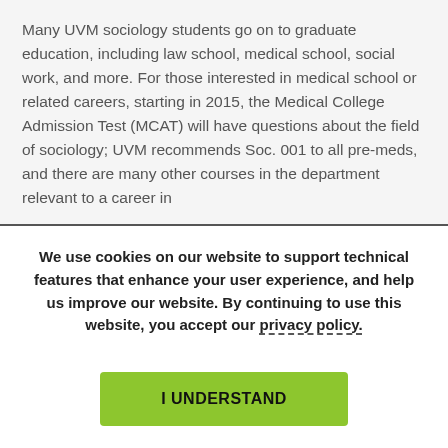Many UVM sociology students go on to graduate education, including law school, medical school, social work, and more. For those interested in medical school or related careers, starting in 2015, the Medical College Admission Test (MCAT) will have questions about the field of sociology; UVM recommends Soc. 001 to all pre-meds, and there are many other courses in the department relevant to a career in
We use cookies on our website to support technical features that enhance your user experience, and help us improve our website. By continuing to use this website, you accept our privacy policy.
I UNDERSTAND